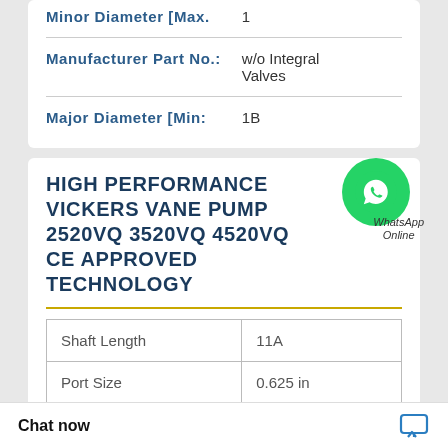| Minor Diameter [Max. | 1 |
| Manufacturer Part No.: | w/o Integral Valves |
| Major Diameter [Min: | 1B |
HIGH PERFORMANCE VICKERS VANE PUMP 2520VQ 3520VQ 4520VQ CE APPROVED TECHNOLOGY
[Figure (logo): WhatsApp green circle icon with WhatsApp Online label]
| Shaft Length | 11A |
| Port Size | 0.625 in |
|  | 000 |
Chat now